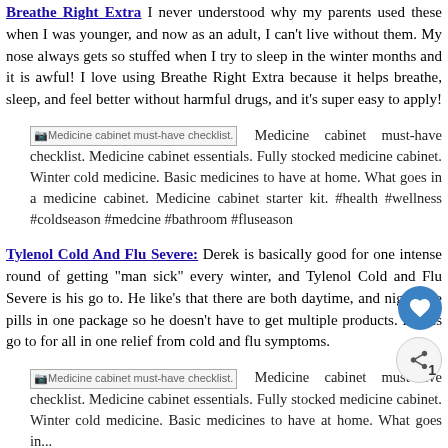Breathe Right Extra: I never understood why my parents used these when I was younger, and now as an adult, I can't live without them. My nose always gets so stuffed when I try to sleep in the winter months and it is awful! I love using Breathe Right Extra because it helps breathe, sleep, and feel better without harmful drugs, and it's super easy to apply!
[Figure (other): Image placeholder followed by alt text: Medicine cabinet must-have checklist. Medicine cabinet essentials. Fully stocked medicine cabinet. Winter cold medicine. Basic medicines to have at home. What goes in a medicine cabinet. Medicine cabinet starter kit. #health #wellness #coldseason #medcine #bathroom #fluseason]
Tylenol Cold And Flu Severe: Derek is basically good for one intense round of getting "man sick" every winter, and Tylenol Cold and Flu Severe is his go to. He like's that there are both daytime, and nighttime pills in one package so he doesn't have to get multiple products. It's his go to for all in one relief from cold and flu symptoms.
[Figure (other): Image placeholder followed by alt text: Medicine cabinet must-have checklist. Medicine cabinet essentials. Fully stocked medicine cabinet. Winter cold medicine. Basic medicines to have at home. What goes in...]